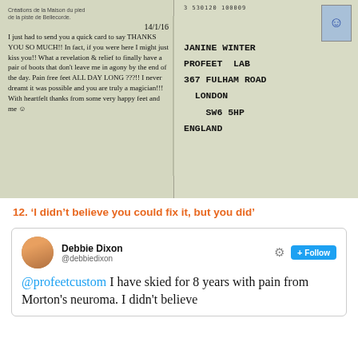[Figure (photo): Photograph of a handwritten postcard. Left side contains a personal message dated 14/1/16 reading: 'I just had to send you a quick card to say THANK YOU SO MUCH!! In fact, if you were here I might just kiss you!! What a revelation & relief to finally have a pair of boots that don't leave me in agony by the end of the day. Pain free feet ALL DAY LONG ???!! I never dreamt it was possible and you are truly a magician!!! With heartfelt thanks from some very happy feet and me :)'. Right side contains a postal address for JANINE WINTER, PROFEET LAB, 367 FULHAM ROAD, LONDON, SW6 5HP, ENGLAND, with a French stamp and barcode at top.]
12. ‘I didn’t believe you could fix it, but you did’
[Figure (screenshot): Screenshot of a tweet by Debbie Dixon (@debbiedixon) with a settings gear icon and Follow button. Tweet text reads: '@profeetcustom I have skied for 8 years with pain from Morton's neuroma. I didn't believe...']